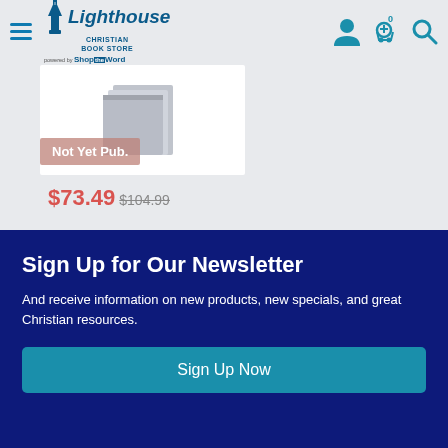Lighthouse Christian Book Store
[Figure (screenshot): Product card showing a book image with 'Not Yet Pub.' overlay badge]
$73.49 $104.99
Sign Up for Our Newsletter
And receive information on new products, new specials, and great Christian resources.
Sign Up Now